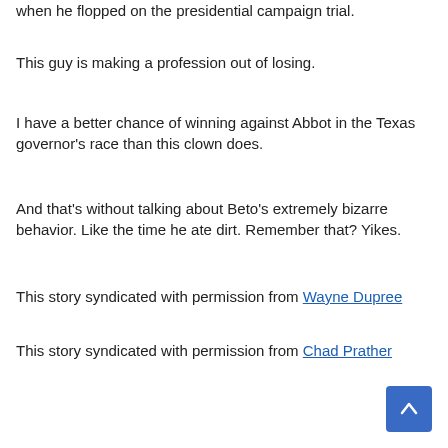when he flopped on the presidential campaign trial.
This guy is making a profession out of losing.
I have a better chance of winning against Abbot in the Texas governor's race than this clown does.
And that's without talking about Beto's extremely bizarre behavior. Like the time he ate dirt. Remember that? Yikes.
This story syndicated with permission from Wayne Dupree
This story syndicated with permission from Chad Prather